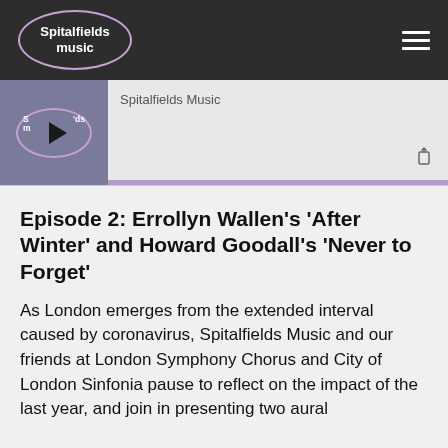Spitalfields music
[Figure (screenshot): Podcast audio player widget showing Spitalfields Music logo with play button, track title 'Spitalfields Music', share icon, and purple progress bar at the bottom of the player.]
Episode 2: Errollyn Wallen’s ‘After Winter’ and Howard Goodall’s ‘Never to Forget’
As London emerges from the extended interval caused by coronavirus, Spitalfields Music and our friends at London Symphony Chorus and City of London Sinfonia pause to reflect on the impact of the last year, and join in presenting two aural